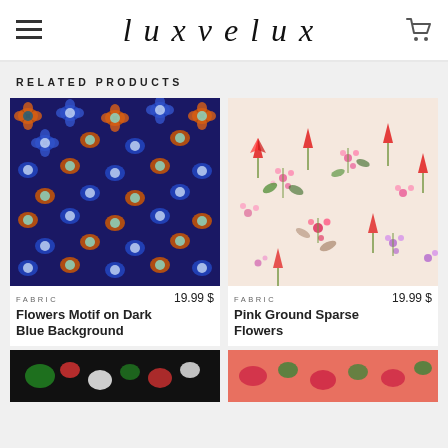luxvelux
RELATED PRODUCTS
[Figure (photo): Flowers Motif on Dark Blue Background fabric pattern — colorful floral print with blue, orange, red, and teal flowers on dark navy background]
FABRIC   19.99 $
Flowers Motif on Dark Blue Background
[Figure (photo): Pink Ground Sparse Flowers fabric pattern — delicate floral print with pink, red, purple, and green flowers on a light pink/beige background]
FABRIC   19.99 $
Pink Ground Sparse Flowers
[Figure (photo): Partial view of a dark fabric with floral motif (bottom left card, partially cropped)]
[Figure (photo): Partial view of a pink/coral fabric with floral motif (bottom right card, partially cropped)]